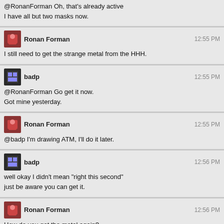@RonanForman Oh, that's already active
I have all but two masks now.
Ronan Forman 12:55 PM
I still need to get the strange metal from the HHH.
badp 12:55 PM
@RonanForman Go get it now.
Got mine yesterday.
Ronan Forman 12:55 PM
@badp I'm drawing ATM, I'll do it later.
badp 12:56 PM
well okay I didn't mean "right this second"
just be aware you can get it.
Ronan Forman 12:56 PM
How do you get the metal again?
badp 12:56 PM
dunno if you'll still get to do that after Tuesday's (?) 2011 Halloween Update
You melee the HHH and he dies before you do.
If you die and the HHH is still up you can try again.
I fishkilled him :D
Ronan Forman 12:57 PM